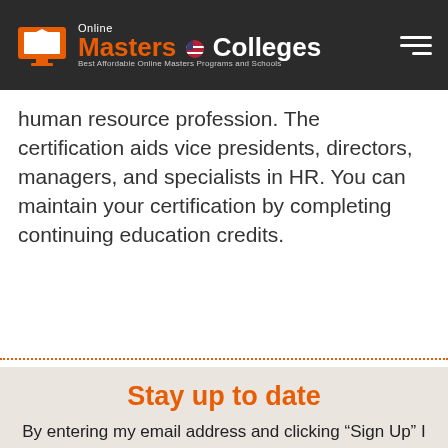Online Masters Colleges — Best Affordable Online Masters Programs and Schools
human resource profession. The certification aids vice presidents, directors, managers, and specialists in HR. You can maintain your certification by completing continuing education credits.
Stay up to date
By entering my email address and clicking “Sign Up” I agree